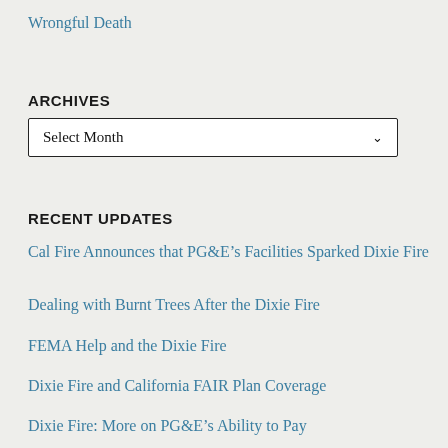Wrongful Death
ARCHIVES
Select Month
RECENT UPDATES
Cal Fire Announces that PG&E's Facilities Sparked Dixie Fire
Dealing with Burnt Trees After the Dixie Fire
FEMA Help and the Dixie Fire
Dixie Fire and California FAIR Plan Coverage
Dixie Fire: More on PG&E's Ability to Pay